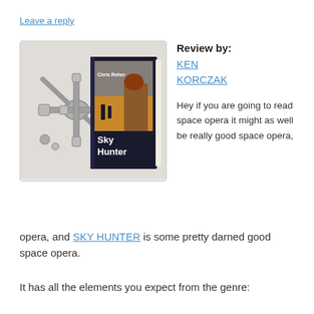Leave a reply
[Figure (illustration): Book cover image for 'Sky Hunter' by Chris Reher showing a red-haired woman in futuristic armor with sci-fi landscape, combined with a 3D illustration of a space station/spacecraft.]
Review by: KEN KORCZAK

Hey if you are going to read space opera it might as well be really good space opera, and SKY HUNTER is some pretty darned good space opera.
It has all the elements you expect from the genre: